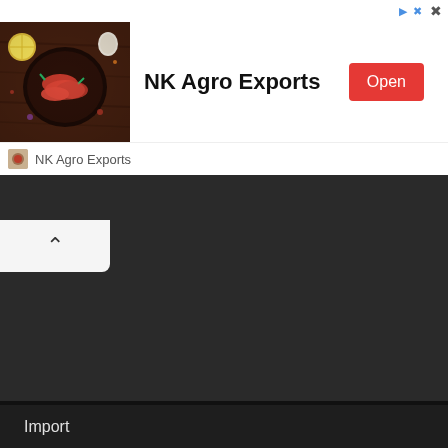[Figure (photo): Advertisement banner for NK Agro Exports showing a bowl of red chili peppers and spices on a dark wooden surface]
NK Agro Exports
Open
NK Agro Exports
Import